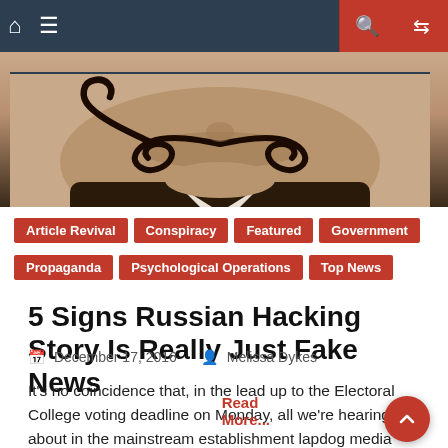Navigation bar with home, menu, search, and shuffle icons
[Figure (photo): Close-up photo of a man's face with a large curled mustache and dark jacket, sepia-toned]
Article Revival
Conspiracy
Featured
Government
Propaganda
Psychological Operations
Top News
5 Signs Russian Hacking Story Is Really Just Fake News
December 17, 2016   Melissa Dykes
It's no coincidence that, in the lead up to the Electoral College voting deadline on Monday, all we're hearing about in the mainstream establishment lapdog media are cries that Russia hacked our election, Donald Trump knew about it, and now they're even saying Putin was personally involved! I'd say there's too little time left, but
Read More...